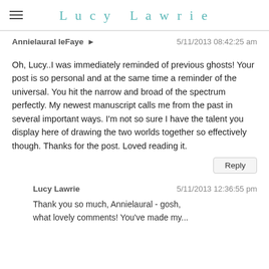Lucy Lawrie
Annielaural leFaye → 5/11/2013 08:42:25 am
Oh, Lucy..I was immediately reminded of previous ghosts! Your post is so personal and at the same time a reminder of the universal. You hit the narrow and broad of the spectrum perfectly. My newest manuscript calls me from the past in several important ways. I'm not so sure I have the talent you display here of drawing the two worlds together so effectively though. Thanks for the post. Loved reading it.
Reply
Lucy Lawrie 5/11/2013 12:36:55 pm
Thank you so much, Annielaural - gosh, what lovely comments! You've made my...